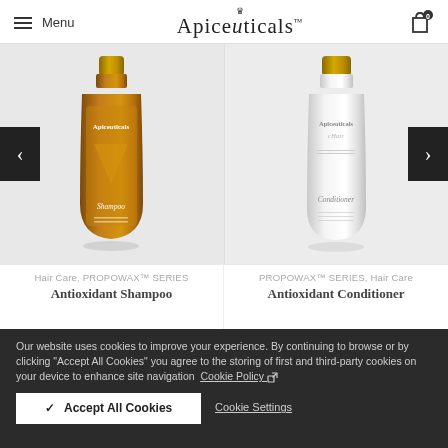Menu | Apiceuticals | Cart 0
[Figure (photo): Two product bottles side by side: left is Apiceuticals Antioxidant Shampoo (amber/gold bottle), right is Apiceuticals Antioxidant Conditioner (white bottle), both with gold caps. Navigation arrows on left and right sides.]
Hair Care, PROPOWAX™ SERIES
Antioxidant Shampoo
PROPOWAX™ SERIES, Hair Care
Antioxidant Conditioner
Our website uses cookies to improve your experience. By continuing to browse or by clicking "Accept All Cookies" you agree to the storing of first and third-party cookies on your device to enhance site navigation
Cookie Policy
✓ Accept All Cookies
Cookie Settings